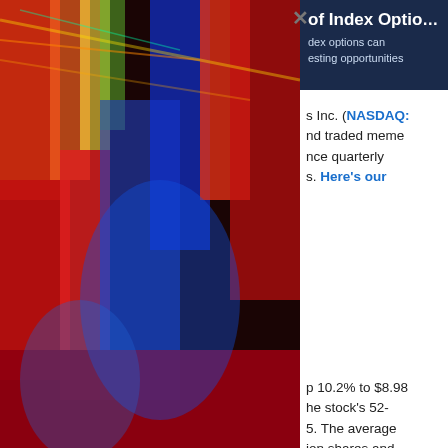[Figure (photo): Abstract colorful photo with red, blue, orange streaks of light on the left panel]
[Figure (logo): Putnam Investments logo — balance scale icon with 'Putnam INVESTMENTS' text in white on dark red background]
of Index Options
dex options can esting opportunities
s Inc. (NASDAQ: nd traded meme nce quarterly s. Here's our
p 10.2% to $8.98 he stock's 52- 5. The average ion shares and